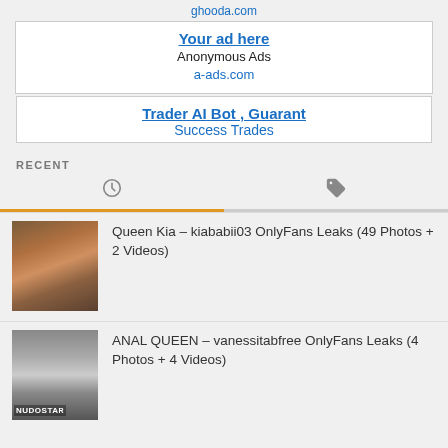[Figure (screenshot): Ad banner: Your ad here / Anonymous Ads / a-ads.com]
[Figure (screenshot): Ad banner: Trader AI Bot, Guaranteed Success Trades (partially visible)]
RECENT
[Figure (infographic): Tab icons: clock icon (left, active with orange underline) and tag/price-tag icon (right)]
Queen Kia – kiababii03 OnlyFans Leaks (49 Photos + 2 Videos)
ANAL QUEEN – vanessitabfree OnlyFans Leaks (4 Photos + 4 Videos)